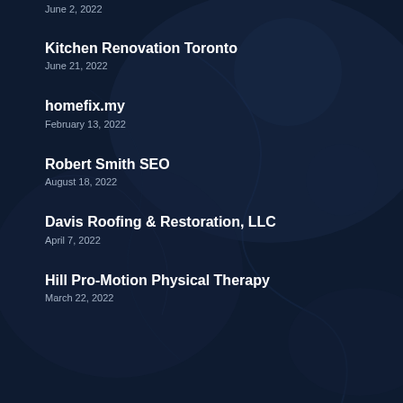June 2, 2022
Kitchen Renovation Toronto
June 21, 2022
homefix.my
February 13, 2022
Robert Smith SEO
August 18, 2022
Davis Roofing & Restoration, LLC
April 7, 2022
Hill Pro-Motion Physical Therapy
March 22, 2022